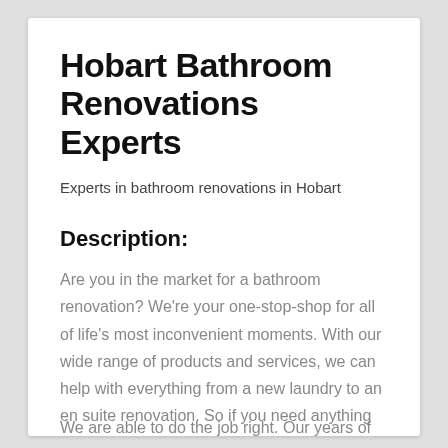Hobart Bathroom Renovations Experts
Experts in bathroom renovations in Hobart
Description:
Are you in the market for a bathroom renovation? We're your one-stop-shop for all of life's most inconvenient moments. With our wide range of products and services, we can help with everything from a new laundry to an en suite renovation. So if you need anything done when it comes time for that dreaded chore in the bathroom, Hobart Bathroom Renovation Experts is here!
We are able to do the job right. Our years of experience